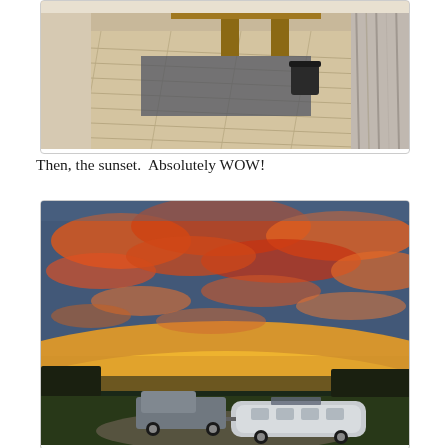[Figure (photo): Interior room photo showing wide-plank light wood flooring, a wooden table or bench in the background, a black metal bucket, and decorative wall art on the right side.]
Then, the sunset.  Absolutely WOW!
[Figure (photo): Dramatic sunset sky with vivid orange, red, and gold clouds against a blue sky. In the foreground, a pickup truck towing a silver Airstream trailer is parked on a gravel pad surrounded by green fields and treeline.]